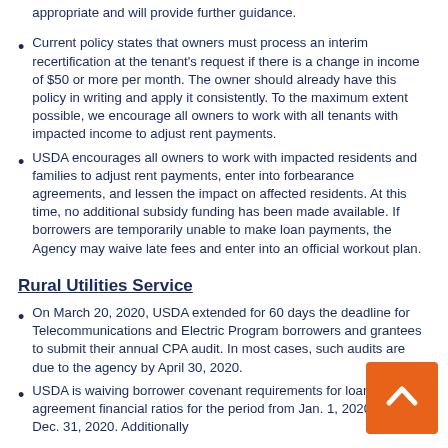appropriate and will provide further guidance.
Current policy states that owners must process an interim recertification at the tenant's request if there is a change in income of $50 or more per month. The owner should already have this policy in writing and apply it consistently. To the maximum extent possible, we encourage all owners to work with all tenants with impacted income to adjust rent payments.
USDA encourages all owners to work with impacted residents and families to adjust rent payments, enter into forbearance agreements, and lessen the impact on affected residents. At this time, no additional subsidy funding has been made available. If borrowers are temporarily unable to make loan payments, the Agency may waive late fees and enter into an official workout plan.
Rural Utilities Service
On March 20, 2020, USDA extended for 60 days the deadline for Telecommunications and Electric Program borrowers and grantees to submit their annual CPA audit. In most cases, such audits are due to the agency by April 30, 2020.
USDA is waiving borrower covenant requirements for loan agreement financial ratios for the period from Jan. 1, 2020, through Dec. 31, 2020. Additionally